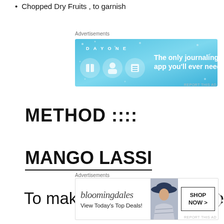Chopped Dry Fruits , to garnish
[Figure (other): Day One journaling app advertisement banner with blue background, icons and text: 'The only journaling app you'll ever need.']
METHOD ::::
MANGO LASSI
To make Mango lassi , take
[Figure (other): Bloomingdale's advertisement: 'View Today's Top Deals!' with SHOP NOW button and woman in hat photo.]